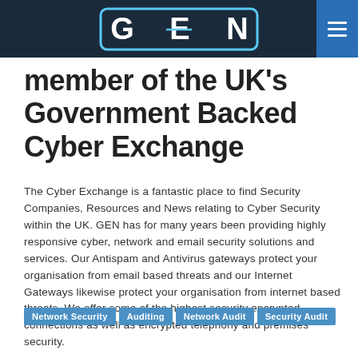[Figure (logo): GEN logo in white/cyan text on dark navy header bar with blue hamburger menu button on the right]
member of the UK's Government Backed Cyber Exchange
The Cyber Exchange is a fantastic place to find Security Companies, Resources and News relating to Cyber Security within the UK. GEN has for many years been providing highly responsive cyber, network and email security solutions and services. Our Antispam and Antivirus gateways protect your organisation from email based threats and our Internet Gateways likewise protect your organisation from internet based threats. We offer some of the highest security encrypted connections as well as encrypted telephony and premises security.
Network Security
Auditing
Network Audit
Security Audit